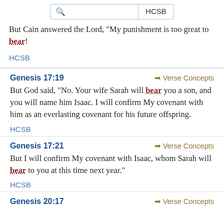[Figure (screenshot): Search bar with magnifying glass icon and HCSB version button]
But Cain answered the Lord, ‘My punishment is too great to bear!
HCSB
Genesis 17:19
Verse Concepts
But God said, “No. Your wife Sarah will bear you a son, and you will name him Isaac. I will confirm My covenant with him as an everlasting covenant for his future offspring.
HCSB
Genesis 17:21
Verse Concepts
But I will confirm My covenant with Isaac, whom Sarah will bear to you at this time next year.”
HCSB
Genesis 20:17
Verse Concepts